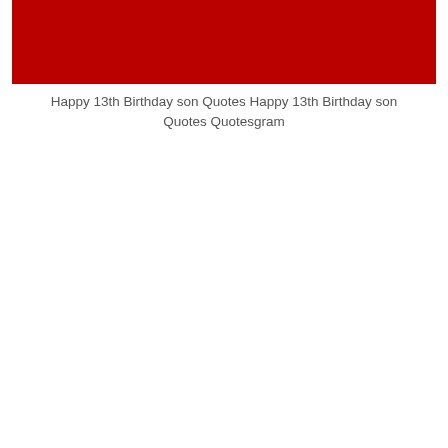[Figure (photo): A red rectangular image block, predominantly dark red/crimson in color, appearing as a partially visible photo.]
Happy 13th Birthday son Quotes Happy 13th Birthday son Quotes Quotesgram